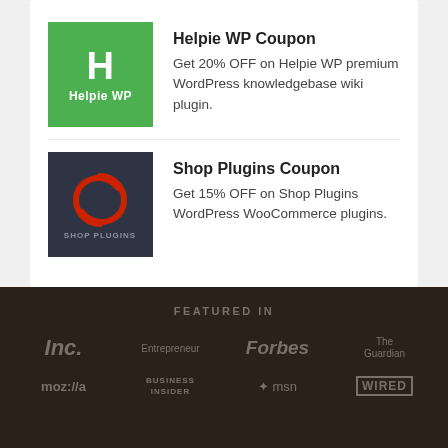[Figure (logo): Helpie WP green logo with H icon]
Helpie WP Coupon
Get 20% OFF on Helpie WP premium WordPress knowledgebase wiki plugin.
[Figure (logo): Shop Plugins dark logo with S icon]
Shop Plugins Coupon
Get 15% OFF on Shop Plugins WordPress WooCommerce plugins.
FEATURED IN
[Figure (logo): Inc. logo]
[Figure (logo): Entrepreneur logo]
[Figure (logo): Forbes logo]
[Figure (logo): The Guardian logo]
[Figure (logo): moz://a logo]
[Figure (logo): Business Insider logo]
[Figure (logo): msn logo]
[Figure (logo): WIRED logo]